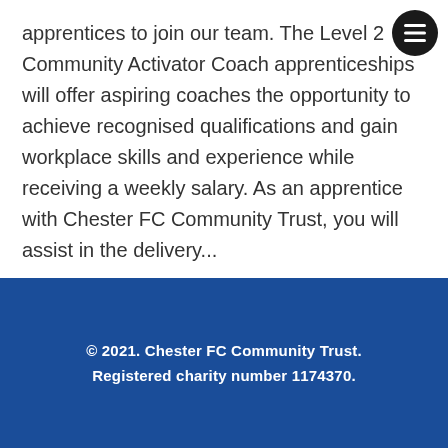apprentices to join our team. The Level 2 Community Activator Coach apprenticeships will offer aspiring coaches the opportunity to achieve recognised qualifications and gain workplace skills and experience while receiving a weekly salary. As an apprentice with Chester FC Community Trust, you will assist in the delivery...
Read More
© 2021. Chester FC Community Trust. Registered charity number 1174370.